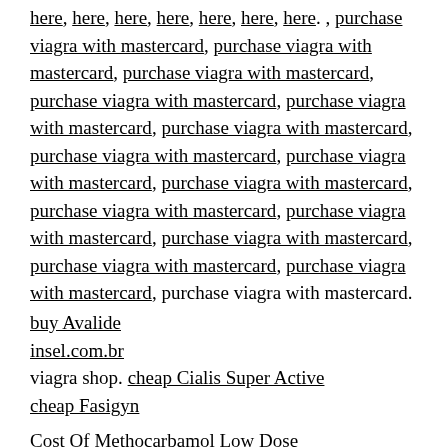here, here, here, here, here, here, here. , purchase viagra with mastercard, purchase viagra with mastercard, purchase viagra with mastercard, purchase viagra with mastercard, purchase viagra with mastercard, purchase viagra with mastercard, purchase viagra with mastercard, purchase viagra with mastercard, purchase viagra with mastercard, purchase viagra with mastercard, purchase viagra with mastercard, purchase viagra with mastercard, purchase viagra with mastercard, purchase viagra with mastercard, purchase viagra with mastercard.
buy Avalide
insel.com.br
viagra shop. cheap Cialis Super Active
cheap Fasigyn
Cost Of Methocarbamol Low Dose
Order Methocarbamol At Online Pharmacy
Methocarbamol Cheapest Lowest Price